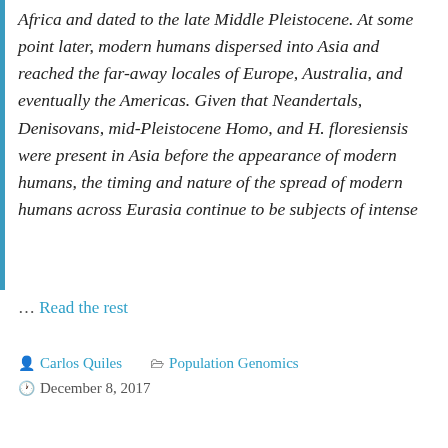Africa and dated to the late Middle Pleistocene. At some point later, modern humans dispersed into Asia and reached the far-away locales of Europe, Australia, and eventually the Americas. Given that Neandertals, Denisovans, mid-Pleistocene Homo, and H. floresiensis were present in Asia before the appearance of modern humans, the timing and nature of the spread of modern humans across Eurasia continue to be subjects of intense
… Read the rest
Carlos Quiles   Population Genomics   December 8, 2017